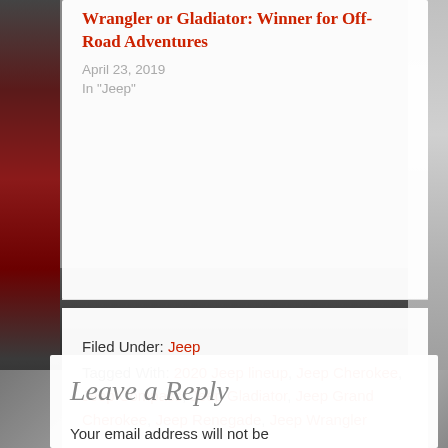Wrangler or Gladiator: Winner for Off-Road Adventures
April 23, 2019
In "Jeep"
Filed Under: Jeep
Tagged With: 2020 Jeep lineup, Jeep Cherokee, Jeep Compass, Jeep Gladiator, Jeep Grand Cherokee, Jeep Renegade, Jeep Wrangler
Leave a Reply
Your email address will not be